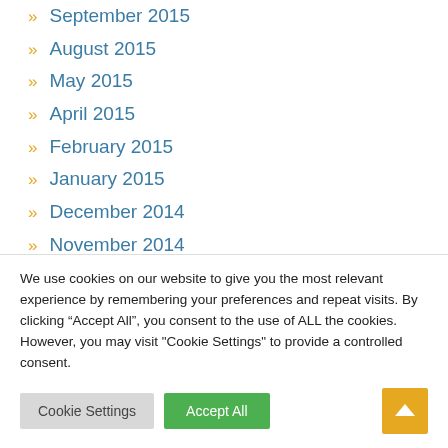September 2015
August 2015
May 2015
April 2015
February 2015
January 2015
December 2014
November 2014
October 2014
September 2014
August 2014
We use cookies on our website to give you the most relevant experience by remembering your preferences and repeat visits. By clicking “Accept All”, you consent to the use of ALL the cookies. However, you may visit "Cookie Settings" to provide a controlled consent.